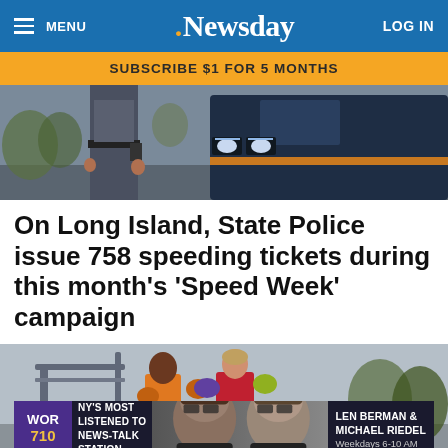MENU | Newsday | LOG IN
SUBSCRIBE $1 FOR 5 MONTHS
[Figure (photo): A New York State Police officer standing next to a police vehicle, shown from waist down, with a police cruiser visible behind them.]
On Long Island, State Police issue 758 speeding tickets during this month's 'Speed Week' campaign
[Figure (photo): Two people boxing or sparring outdoors, one wearing an orange vest and the other in red, with an outdoor structure visible in the background. An advertisement banner for WOR 710 radio featuring Len Berman and Michael Riedel is overlaid at the bottom.]